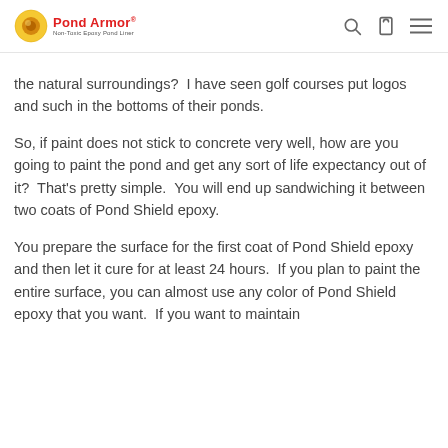Pond Armor
the natural surroundings?  I have seen golf courses put logos and such in the bottoms of their ponds.
So, if paint does not stick to concrete very well, how are you going to paint the pond and get any sort of life expectancy out of it?  That's pretty simple.  You will end up sandwiching it between two coats of Pond Shield epoxy.
You prepare the surface for the first coat of Pond Shield epoxy and then let it cure for at least 24 hours.  If you plan to paint the entire surface, you can almost use any color of Pond Shield epoxy that you want.  If you want to maintain